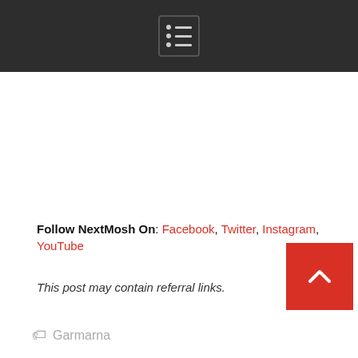[Navigation menu icon]
Follow NextMosh On: Facebook, Twitter, Instagram, YouTube
This post may contain referral links.
Garmarna